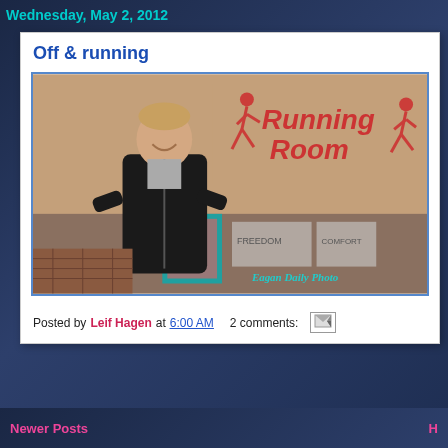Wednesday, May 2, 2012
Off & running
[Figure (photo): A man in a black zip-up jacket standing in front of a Running Room store sign. The sign features red letters and silhouettes of runners. The store has teal/turquoise door frames visible in the background. Watermark reads 'Eagan Daily Photo' in teal text at bottom right.]
Posted by Leif Hagen at 6:00 AM   2 comments:
Newer Posts   H